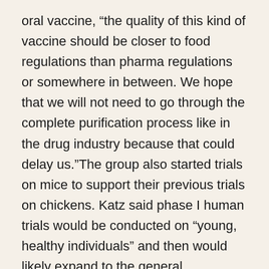oral vaccine, “the quality of this kind of vaccine should be closer to food regulations than pharma regulations or somewhere in between. We hope that we will not need to go through the complete purification process like in the drug industry because that could delay us.”The group also started trials on mice to support their previous trials on chickens. Katz said phase I human trials would be conducted on “young, healthy individuals” and then would likely expand to the general population. The group, which is funded in part by a NIS 30 million grant from the Science and Technology Ministry, is in touch with the Health Ministry, he said and noted that “technology-wise, people wise we have all we need in Israel.” He believes the vaccine will first be available in the Jewish state February, Science and Technology Minister Ofer Akunis said he had instructed his ministry’s director-general to fast-track all approval